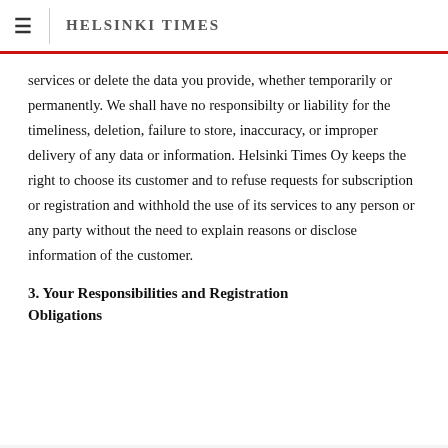≡  HELSINKI TIMES
services or delete the data you provide, whether temporarily or permanently. We shall have no responsibilty or liability for the timeliness, deletion, failure to store, inaccuracy, or improper delivery of any data or information. Helsinki Times Oy keeps the right to choose its customer and to refuse requests for subscription or registration and withhold the use of its services to any person or any party without the need to explain reasons or disclose information of the customer.
3. Your Responsibilities and Registration Obligations